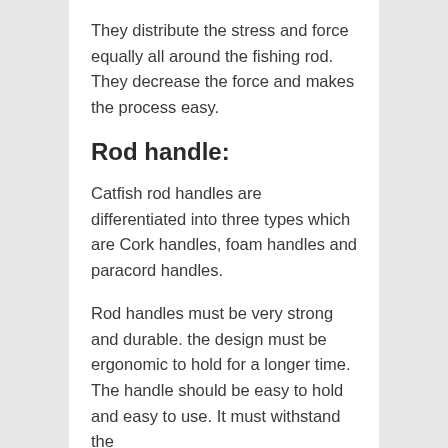They distribute the stress and force equally all around the fishing rod. They decrease the force and makes the process easy.
Rod handle:
Catfish rod handles are differentiated into three types which are Cork handles, foam handles and paracord handles.
Rod handles must be very strong and durable. the design must be ergonomic to hold for a longer time. The handle should be easy to hold and easy to use. It must withstand the